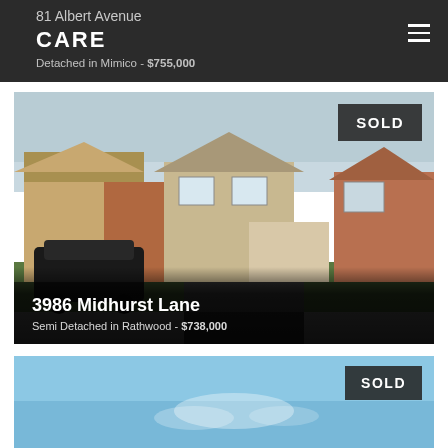81 Albert Avenue | CARE | Detached in Mimico - $755,000
[Figure (photo): Exterior photo of a semi-detached house at 3986 Midhurst Lane in Rathwood. Two-storey brick and siding home with attached garage. Black minivan in driveway on left. SOLD badge in top right corner.]
3986 Midhurst Lane
Semi Detached in Rathwood - $738,000
[Figure (photo): Partial view of another property listing photo showing blue sky. SOLD badge visible in top right corner.]